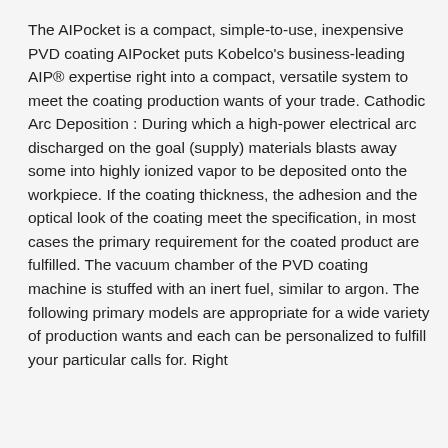The AIPocket is a compact, simple-to-use, inexpensive PVD coating AIPocket puts Kobelco's business-leading AIP® expertise right into a compact, versatile system to meet the coating production wants of your trade. Cathodic Arc Deposition : During which a high-power electrical arc discharged on the goal (supply) materials blasts away some into highly ionized vapor to be deposited onto the workpiece. If the coating thickness, the adhesion and the optical look of the coating meet the specification, in most cases the primary requirement for the coated product are fulfilled. The vacuum chamber of the PVD coating machine is stuffed with an inert fuel, similar to argon. The following primary models are appropriate for a wide variety of production wants and each can be personalized to fulfill your particular calls for. Right